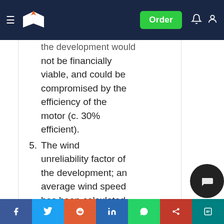Navigation bar with logo, hamburger menu, Order button, notification and account icons
...the development would not be financially viable, and could be compromised by the efficiency of the motor (c. 30% efficient).
5. The wind unreliability factor of the development; an average wind speed has been calculated at 4.9m/s at 10 meters AFL. For wind turbines to...
Share bar: Facebook, Twitter, Reddit, LinkedIn, WhatsApp, Mendeley, ResearchGate